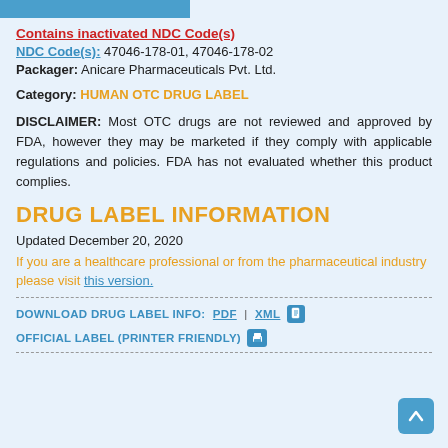Contains inactivated NDC Code(s)
NDC Code(s): 47046-178-01, 47046-178-02
Packager: Anicare Pharmaceuticals Pvt. Ltd.
Category: HUMAN OTC DRUG LABEL
DISCLAIMER: Most OTC drugs are not reviewed and approved by FDA, however they may be marketed if they comply with applicable regulations and policies. FDA has not evaluated whether this product complies.
DRUG LABEL INFORMATION
Updated December 20, 2020
If you are a healthcare professional or from the pharmaceutical industry please visit this version.
DOWNLOAD DRUG LABEL INFO: PDF | XML
OFFICIAL LABEL (PRINTER FRIENDLY)